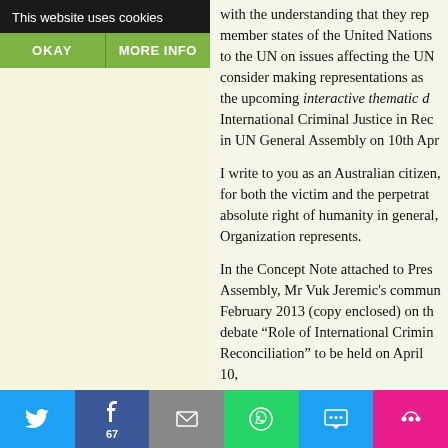This website uses cookies
OKAY | MORE INFO
with the understanding that they rep member states of the United Nations to the UN on issues affecting the UN consider making representations as t the upcoming interactive thematic d International Criminal Justice in Rec in UN General Assembly on 10th Apr
I write to you as an Australian citizen, for both the victim and the perpetrat absolute right of humanity in general, Organization represents.
In the Concept Note attached to Pres Assembly, Mr Vuk Jeremic's commun February 2013 (copy enclosed) on th debate “Role of International Crimin Reconciliation” to be held on April 10, “we must be vigilant to ensure that in justice serves in the best way its pur neutral and impartial framework, and